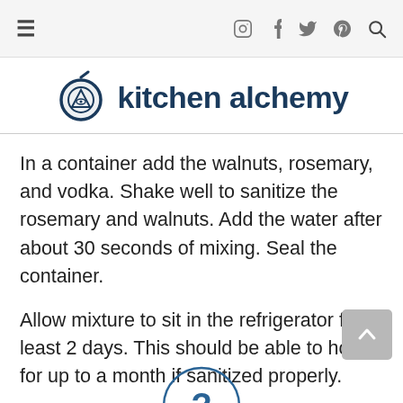Kitchen Alchemy – navigation bar with hamburger menu and social icons
[Figure (logo): Kitchen Alchemy logo: dark navy frying pan with an all-seeing eye symbol and the text 'kitchen alchemy' in dark navy bold font]
In a container add the walnuts, rosemary, and vodka. Shake well to sanitize the rosemary and walnuts. Add the water after about 30 seconds of mixing. Seal the container.
Allow mixture to sit in the refrigerator for at least 2 days. This should be able to hold for up to a month if sanitized properly.
[Figure (illustration): Partial circular icon visible at bottom center of page]